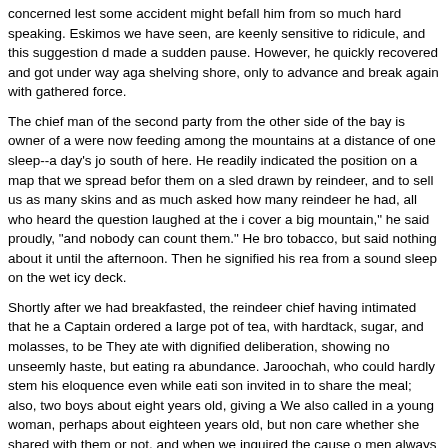concerned lest some accident might befall him from so much hard speaking. Eskimos we have seen, are keenly sensitive to ridicule, and this suggestion d made a sudden pause. However, he quickly recovered and got under way aga shelving shore, only to advance and break again with gathered force.
The chief man of the second party from the other side of the bay is owner of a were now feeding among the mountains at a distance of one sleep--a day's jo south of here. He readily indicated the position on a map that we spread befor them on a sled drawn by reindeer, and to sell us as many skins and as much asked how many reindeer he had, all who heard the question laughed at the i cover a big mountain," he said proudly, "and nobody can count them." He bro tobacco, but said nothing about it until the afternoon. Then he signified his rea from a sound sleep on the wet icy deck.
Shortly after we had breakfasted, the reindeer chief having intimated that he a Captain ordered a large pot of tea, with hardtack, sugar, and molasses, to be They ate with dignified deliberation, showing no unseemly haste, but eating ra abundance. Jaroochah, who could hardly stem his eloquence even while eati son invited in to share the meal; also, two boys about eight years old, giving a We also called in a young woman, perhaps about eighteen years old, but non care whether she shared with them or not, and when we inquired the cause o men always served the ladies first, Jaroochah said that while girls were "little t them, but when they grew big they went away from their parents with "some o use to them and could look out for themselves.
Those who were not invited to this meal did not seem to mind it much, for they what the whalers call "black skin"--the skin of the right whale--which is about a half an inch to an inch of blubber attached. This I saw them eating raw with he only sauce, cutting off angular blocks of it with butcherknives, while one end o was being held in the left hand, the other between their teeth. Long practice e this way without cutting their lips, although they saw their long knives back o